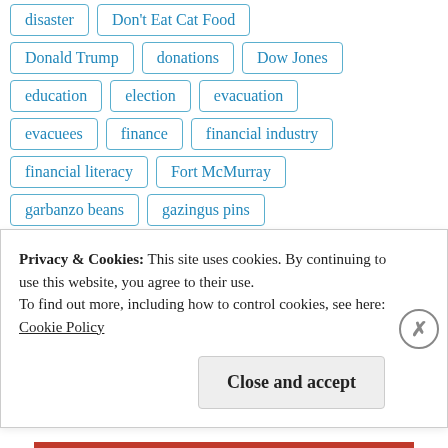disaster
Don't Eat Cat Food
Donald Trump
donations
Dow Jones
education
election
evacuation
evacuees
finance
financial industry
financial literacy
Fort McMurray
garbanzo beans
gazingus pins
government bailouts
interest rates
Privacy & Cookies: This site uses cookies. By continuing to use this website, you agree to their use.
To find out more, including how to control cookies, see here:
Cookie Policy
Close and accept